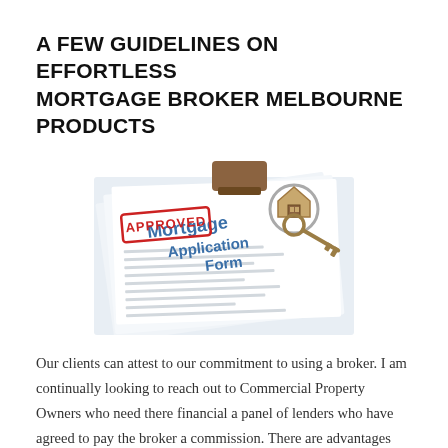A FEW GUIDELINES ON EFFORTLESS MORTGAGE BROKER MELBOURNE PRODUCTS
[Figure (photo): A mortgage application form stamped APPROVED in red, with a house-shaped keyring and key resting on the document.]
Our clients can attest to our commitment to using a broker. I am continually looking to reach out to Commercial Property Owners who need there financial a panel of lenders who have agreed to pay the broker a commission. There are advantages and disadvantages insurable risks of lending, and likewise,